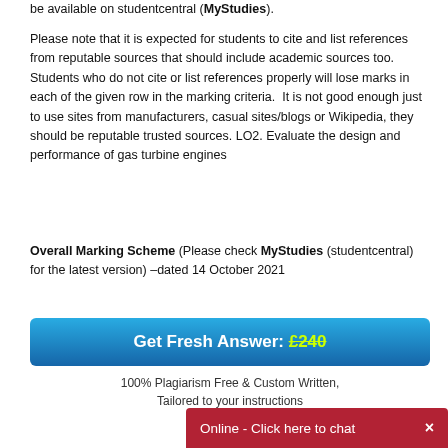be available on studentcentral (MyStudies).
Please note that it is expected for students to cite and list references from reputable sources that should include academic sources too.  Students who do not cite or list references properly will lose marks in each of the given row in the marking criteria.  It is not good enough just to use sites from manufacturers, casual sites/blogs or Wikipedia, they should be reputable trusted sources. LO2. Evaluate the design and performance of gas turbine engines
Overall Marking Scheme (Please check MyStudies (studentcentral) for the latest version) –dated 14 October 2021
[Figure (infographic): Call-to-action button with blue gradient background reading 'Get Fresh Answer: £240' with strikethrough on price, followed by subtext '100% Plagiarism Free & Custom Written, Tailored to your instructions']
Online - Click here to chat  ×